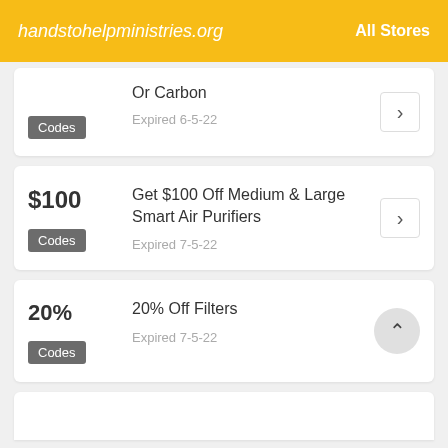handstohelpministries.org  All Stores
Or Carbon
Expired 6-5-22
Codes
$100
Get $100 Off Medium & Large Smart Air Purifiers
Expired 7-5-22
Codes
20%
20% Off Filters
Expired 7-5-22
Codes